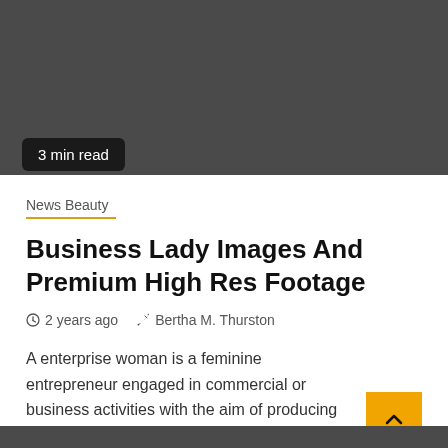[Figure (photo): Dark gray background image area (header image placeholder)]
3 min read
News Beauty
Business Lady Images And Premium High Res Footage
2 years ago  Bertha M. Thurston
A enterprise woman is a feminine entrepreneur engaged in commercial or business activities with the aim of producing revenues. Since...